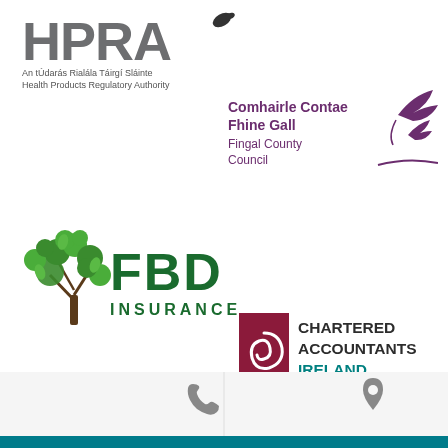[Figure (logo): HPRA - Health Products Regulatory Authority logo. Grey bold HPRA text with tagline 'An tÚdarás Rialála Táirgí Sláinte / Health Products Regulatory Authority']
[Figure (logo): Fingal County Council / Comhairle Contae Fhine Gall logo with purple text and flying bird illustration]
[Figure (logo): FBD Insurance logo with green tree illustration and bold green FBD INSURANCE text]
[Figure (logo): Chartered Accountants Ireland logo with dark red shield/spiral and bold dark text CHARTERED ACCOUNTANTS IRELAND in teal]
[Figure (logo): ComReg - An Coimisiún um Rialáil Cumarsáide / Commission for Communications Regulation logo with green circular graphic]
[Figure (logo): Partial red circular logo visible at bottom center]
[Figure (infographic): Bottom navigation bar with phone icon on left section and location pin icon on right section, teal bar at very bottom]